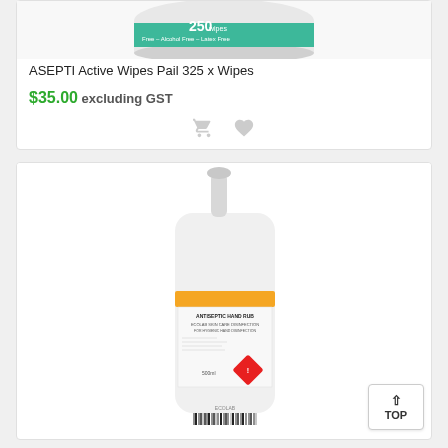[Figure (photo): ASEPTI Active Wipes Pail showing teal label with '250 wipes', 'Alcohol Free', 'Latex Free' text]
ASEPTI Active Wipes Pail 325 x Wipes
$35.00 excluding GST
[Figure (photo): White pump bottle with orange label (Ecolab antiseptic product) featuring hazard diamond symbol, 500ml, barcode at bottom]